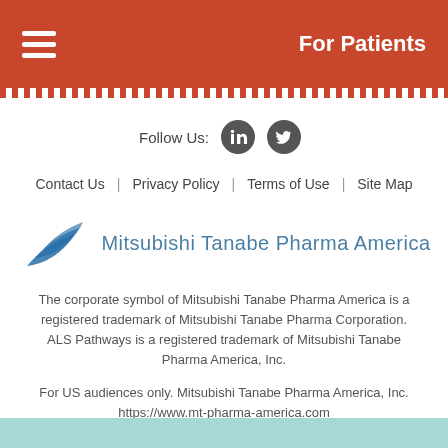For Patients
Follow Us:
Contact Us  |  Privacy Policy  |  Terms of Use  |  Site Map
[Figure (logo): Mitsubishi Tanabe Pharma America logo with blue swoosh/leaf graphic and company name]
The corporate symbol of Mitsubishi Tanabe Pharma America is a registered trademark of Mitsubishi Tanabe Pharma Corporation. ALS Pathways is a registered trademark of Mitsubishi Tanabe Pharma America, Inc.
For US audiences only. Mitsubishi Tanabe Pharma America, Inc. https://www.mt-pharma-america.com
© 2021 Mitsubishi Tanabe Pharma America, Inc. All rights reserved. US Only. CNP-NON-US-0147 11/21